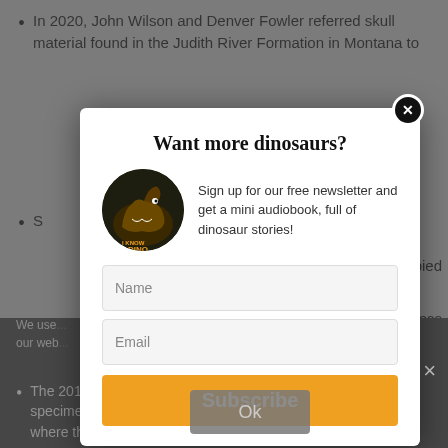In 2020, John Wilson and Denver Fowler referred skull material found in the Judith River Formation in Montana to S...
S... ...pied ...ross ...eous W...
D... ...oni
We use... ...nce on our web... ...hat you
[Figure (screenshot): Modal popup dialog with title 'Want more dinosaurs?', dinosaur book image, newsletter signup text, Name and Email input fields, and orange Subscribe button]
Want more dinosaurs?
Sign up for our free newsletter and get a mini audiobook, full of dinosaur stories!
The 2014 Saur... ...as langstoni specimen is "vi... ...ical to the holotype where they can be compared"